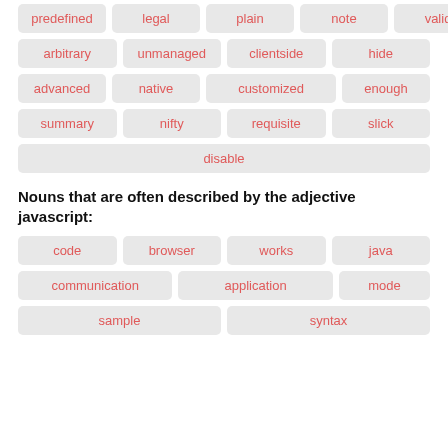[Figure (other): Tag/chip grid showing adjective words: predefined, legal, plain, note, valid, arbitrary, unmanaged, clientside, hide, advanced, native, customized, enough, summary, nifty, requisite, slick, disable]
Nouns that are often described by the adjective javascript:
[Figure (other): Tag/chip grid showing noun words: code, browser, works, java, communication, application, mode, sample, syntax]